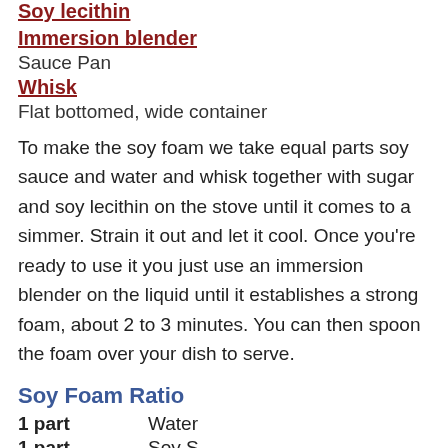Soy lecithin
Immersion blender
Sauce Pan
Whisk
Flat bottomed, wide container
To make the soy foam we take equal parts soy sauce and water and whisk together with sugar and soy lecithin on the stove until it comes to a simmer. Strain it out and let it cool. Once you're ready to use it you just use an immersion blender on the liquid until it establishes a strong foam, about 2 to 3 minutes. You can then spoon the foam over your dish to serve.
Soy Foam Ratio
1 part    Water
1 part    Soy Sauce